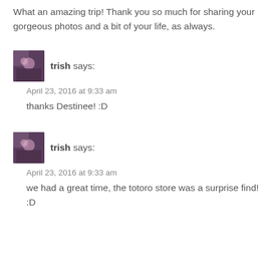What an amazing trip! Thank you so much for sharing your gorgeous photos and a bit of your life, as always.
trish says:
April 23, 2016 at 9:33 am
thanks Destinee! :D
trish says:
April 23, 2016 at 9:33 am
we had a great time, the totoro store was a surprise find! :D